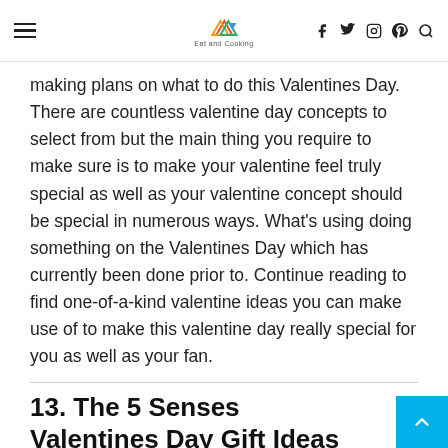Eat and Cooking — navigation header with hamburger menu, logo, social icons (Facebook, Twitter, Instagram, Pinterest, Search)
making plans on what to do this Valentines Day. There are countless valentine day concepts to select from but the main thing you require to make sure is to make your valentine feel truly special as well as your valentine concept should be special in numerous ways. What's using doing something on the Valentines Day which has currently been done prior to. Continue reading to find one-of-a-kind valentine ideas you can make use of to make this valentine day really special for you as well as your fan.
13. The 5 Senses Valentines Day Gift Ideas for Him & Her